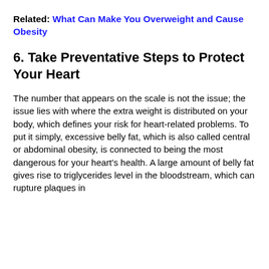Related: What Can Make You Overweight and Cause Obesity
6. Take Preventative Steps to Protect Your Heart
The number that appears on the scale is not the issue; the issue lies with where the extra weight is distributed on your body, which defines your risk for heart-related problems. To put it simply, excessive belly fat, which is also called central or abdominal obesity, is connected to being the most dangerous for your heart's health. A large amount of belly fat gives rise to triglycerides level in the bloodstream, which can rupture plaques in